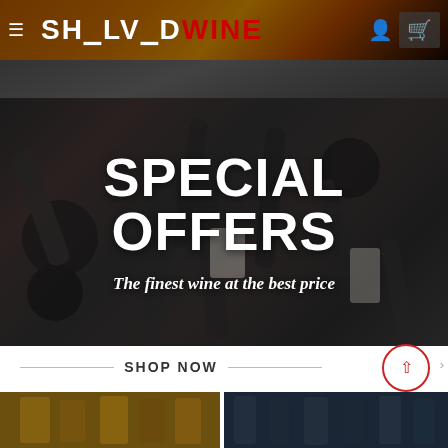SHELVEDWINE
[Figure (photo): Partial view of wine bottles from above on dark background]
[Figure (photo): Multiple wine bottles laid out on dark background with SPECIAL OFFERS text overlay]
SPECIAL OFFERS
The finest wine at the best price
SHOP NOW
[Figure (photo): Bottom partial product images, two side-by-side thumbnails]